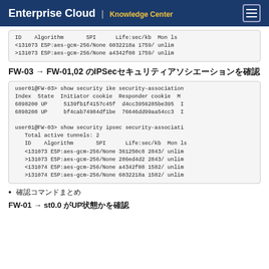Enterprise Cloud | Knowledge Center
ID    Algorithm       SPI      Life:sec/kb  Mon ls
<131073 ESP:aes-gcm-256/None 6032218a 1759/ unlim
>131073 ESP:aes-gcm-256/None a4342f08 1759/ unlim
FW-03 → FW-01,02 のIPSecセキュリティアソシエーションを確認
user01@FW-03> show security ike security-association
Index  State  Initiator cookie  Responder cookie  M
6898200 UP     5139fb1f4157c45f  d4cc3956285be395  I
6898208 UP     bf4cab74984df1be  76646dd99aa54cc3  I

user01@FW-03> show security ipsec security-associati
   Total active tunnels: 2
   ID    Algorithm       SPI      Life:sec/kb  Mon ls
   <131073 ESP:aes-gcm-256/None 361250c8 2843/ unlim
   >131073 ESP:aes-gcm-256/None 286ed4d2 2843/ unlim
   <131074 ESP:aes-gcm-256/None a4342f08 1582/ unlim
   >131074 ESP:aes-gcm-256/None 6032218a 1582/ unlim
確認コマンドまとめ
FW-01 → st0.0 がUP状態かを確認